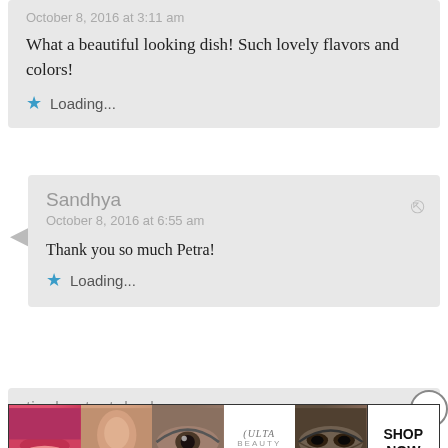October 8, 2016 at 3:11 am
What a beautiful looking dish! Such lovely flavors and colors!
Loading...
Sandhya
October 8, 2016 at 6:55 am
Thank you so much Petra!
Loading...
tingleurtastebuds
Advertisements
[Figure (other): Beauty/cosmetics advertisement banner featuring lips, makeup brush, eye, Ulta Beauty logo, eye close-up, and Shop Now call to action]